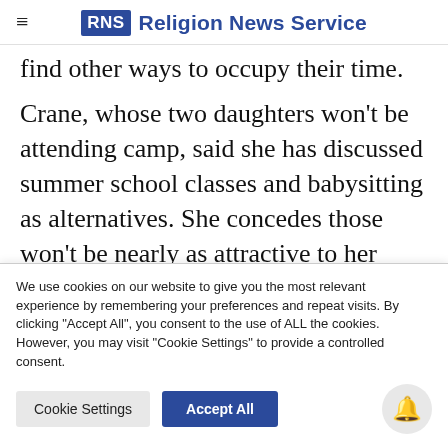RNS Religion News Service
find other ways to occupy their time.
Crane, whose two daughters won't be attending camp, said she has discussed summer school classes and babysitting as alternatives. She concedes those won't be nearly as attractive to her girls, or as she put
We use cookies on our website to give you the most relevant experience by remembering your preferences and repeat visits. By clicking "Accept All", you consent to the use of ALL the cookies. However, you may visit "Cookie Settings" to provide a controlled consent.